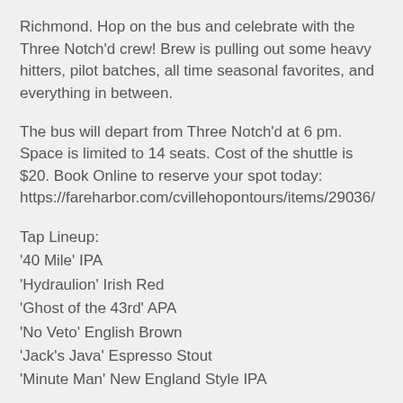Richmond. Hop on the bus and celebrate with the Three Notch'd crew! Brew is pulling out some heavy hitters, pilot batches, all time seasonal favorites, and everything in between.
The bus will depart from Three Notch'd at 6 pm. Space is limited to 14 seats. Cost of the shuttle is $20. Book Online to reserve your spot today: https://fareharbor.com/cvillehopontours/items/29036/
Tap Lineup:
‘40 Mile’ IPA
‘Hydraulion’ Irish Red
‘Ghost of the 43rd’ APA
‘No Veto’ English Brown
‘Jack’s Java’ Espresso Stout
‘Minute Man’ New England Style IPA